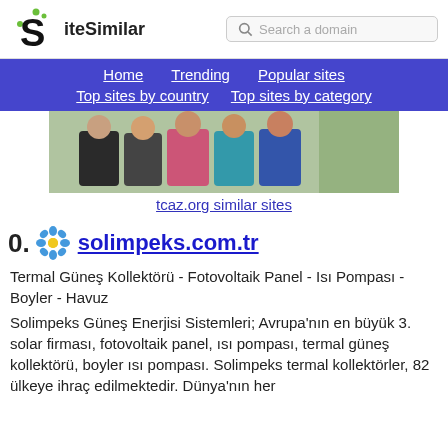SiteSimilar — Search a domain
Home   Trending   Popular sites   Top sites by country   Top sites by category
[Figure (photo): Group photo of five people standing together outdoors]
tcaz.org similar sites
o0.  solimpeks.com.tr
Termal Güneş Kollektörü - Fotovoltaik Panel - Isı Pompası - Boyler - Havuz
Solimpeks Güneş Enerjisi Sistemleri; Avrupa'nın en büyük 3. solar firması, fotovoltaik panel, ısı pompası, termal güneş kollektörü, boyler ısı pompası. Solimpeks termal kollektörler, 82 ülkeye ihraç edilmektedir. Dünya'nın her